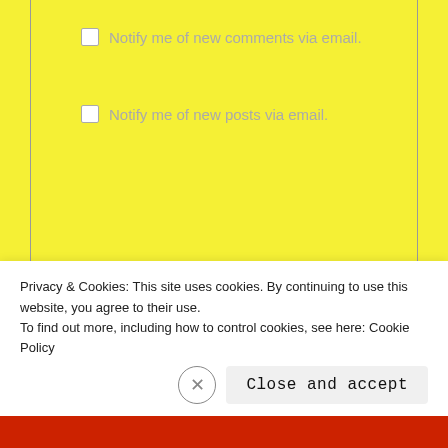Notify me of new comments via email.
Notify me of new posts via email.
This blog has had
14,977 hits
Archives
Privacy & Cookies: This site uses cookies. By continuing to use this website, you agree to their use. To find out more, including how to control cookies, see here: Cookie Policy
Close and accept